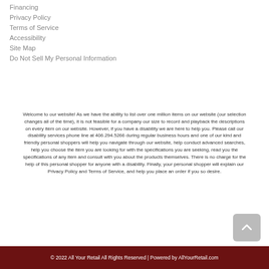Financing
Privacy Policy
Terms of Service
Accessibility
Site Map
Do Not Sell My Personal Information
Welcome to our website! As we have the ability to list over one million items on our website (our selection changes all of the time), it is not feasible for a company our size to record and playback the descriptions on every item on our website. However, if you have a disability we are here to help you. Please call our disability services phone line at 406.294.5266 during regular business hours and one of our kind and friendly personal shoppers will help you navigate through our website, help conduct advanced searches, help you choose the item you are looking for with the specifications you are seeking, read you the specifications of any item and consult with you about the products themselves. There is no charge for the help of this personal shopper for anyone with a disability. Finally, your personal shopper will explain our Privacy Policy and Terms of Service, and help you place an order if you so desire.
© 2022 All Your Retail All Rights Reserved | Powered by AllYourRetail.com